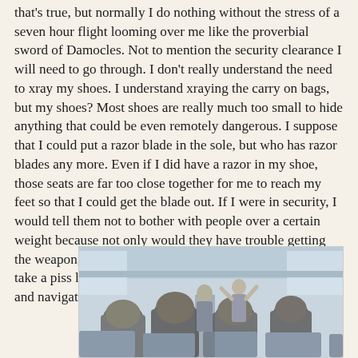that's true, but normally I do nothing without the stress of a seven hour flight looming over me like the proverbial sword of Damocles. Not to mention the security clearance I will need to go through. I don't really understand the need to xray my shoes. I understand xraying the carry on bags, but my shoes? Most shoes are really much too small to hide anything that could be even remotely dangerous. I suppose that I could put a razor blade in the sole, but who has razor blades any more. Even if I did have a razor in my shoe, those seats are far too close together for me to reach my feet so that I could get the blade out. If I were in security, I would tell them not to bother with people over a certain weight because not only would they have trouble getting the weapon, they can barely get up and down the aisle to take a piss let alone squeeze into the cockpit with the pilots and navigator.
[Figure (photo): Photo of airplane cabin interior showing rows of passengers seated, viewed from behind. Light coming through windows visible in the background.]